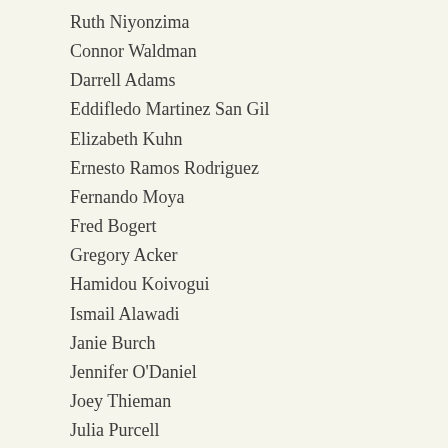Ruth Niyonzima
Connor Waldman
Darrell Adams
Eddifledo Martinez San Gil
Elizabeth Kuhn
Ernesto Ramos Rodriguez
Fernando Moya
Fred Bogert
Gregory Acker
Hamidou Koivogui
Ismail Alawadi
Janie Burch
Jennifer O'Daniel
Joey Thieman
Julia Purcell
Kuvebo!
Leiser Tito Quesada
Leng Hlei Sung